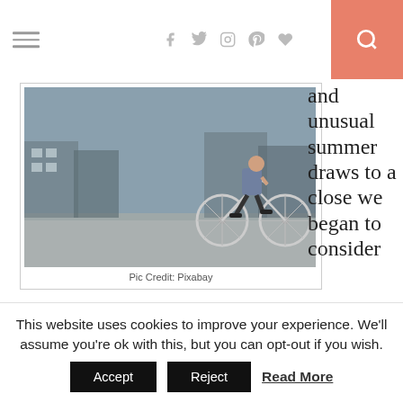Navigation bar with hamburger menu, social icons (facebook, twitter, instagram, pinterest, heart), and search button
[Figure (photo): Man riding a bicycle on an urban street, wearing a plaid shirt and dark jeans. Urban background with buildings and parked cars.]
Pic Credit: Pixabay
and unusual summer draws to a close we began to consider the challenges of winter so there is  never a better time to highlight the importance of being aware of the changing road conditions in the winter weather. As a family we love getting out and about.  The Dada Fairy and the oldest man love their Saturday morning cycle.  Great way for the pair of them to spend
This website uses cookies to improve your experience. We'll assume you're ok with this, but you can opt-out if you wish.
Accept  Reject  Read More